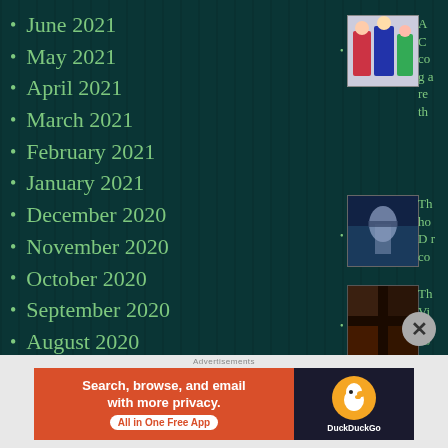June 2021
May 2021
April 2021
March 2021
February 2021
January 2021
December 2020
November 2020
October 2020
September 2020
August 2020
July 2020
June 2020
[Figure (photo): Thumbnail image of costumed characters]
[Figure (photo): Thumbnail of dark scene with figure in blue light]
[Figure (photo): Thumbnail of dark multi-panel collage]
[Figure (infographic): DuckDuckGo advertisement banner: Search, browse, and email with more privacy. All in One Free App]